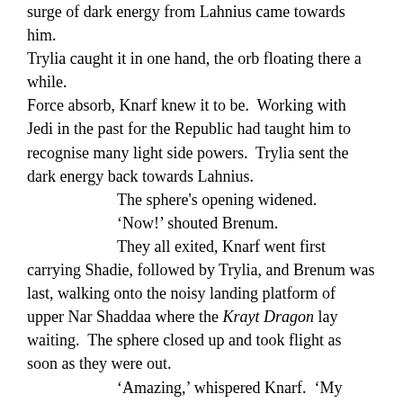surge of dark energy from Lahnius came towards him. Trylia caught it in one hand, the orb floating there a while. Force absorb, Knarf knew it to be.  Working with Jedi in the past for the Republic had taught him to recognise many light side powers.  Trylia sent the dark energy back towards Lahnius.
	The sphere's opening widened.
	'Now!' shouted Brenum.
	They all exited, Knarf went first carrying Shadie, followed by Trylia, and Brenum was last, walking onto the noisy landing platform of upper Nar Shaddaa where the Krayt Dragon lay waiting.  The sphere closed up and took flight as soon as they were out.
	'Amazing,' whispered Knarf.  'My Lady, whatever you did to command it, you were amazing.'
	'Lahnius won't be bothering us for a while, but he'll